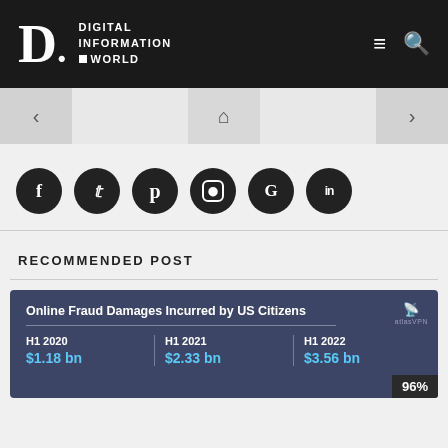DIGITAL INFORMATION WORLD
[Figure (screenshot): Navigation bar with back arrow, home icon, and forward arrow buttons]
[Figure (infographic): Social media icon buttons: Facebook, Twitter, Pinterest, Instagram, Google, LinkedIn]
RECOMMENDED POST
[Figure (infographic): Online Fraud Damages Incurred by US Citizens: H1 2020 $1.18 bn, H1 2021 $2.33 bn, H1 2022 $3.56 bn. AtlasVPN logo. 96% progress badge.]